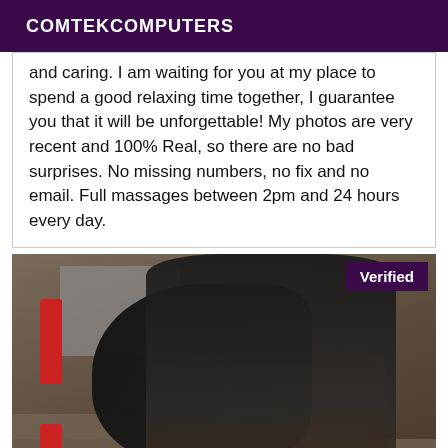COMTEKCOMPUTERS
and caring. I am waiting for you at my place to spend a good relaxing time together, I guarantee you that it will be unforgettable! My photos are very recent and 100% Real, so there are no bad surprises. No missing numbers, no fix and no email. Full massages between 2pm and 24 hours every day.
[Figure (photo): Photo of a woman with long dark hair sitting on stairs, with a red candle visible on the left. A 'Verified' badge appears in the top-right corner of the image.]